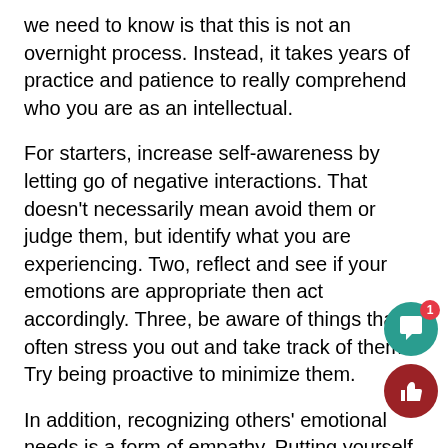we need to know is that this is not an overnight process. Instead, it takes years of practice and patience to really comprehend who you are as an intellectual.
For starters, increase self-awareness by letting go of negative interactions. That doesn't necessarily mean avoid them or judge them, but identify what you are experiencing. Two, reflect and see if your emotions are appropriate then act accordingly. Three, be aware of things that often stress you out and take track of them. Try being proactive to minimize them.
In addition, recognizing others' emotional needs is a form of empathy. Putting yourself in their position or perspective let's them know you genuinely care. Last, handle adversity by practicing optimism, asking thought-provoking questions, and taking initiative in solving problems.
[Figure (other): Green circular chat bubble button with a notification badge showing '1', and a dark red circular thumbs-up button below it — UI overlay elements in the bottom-right corner of the page.]